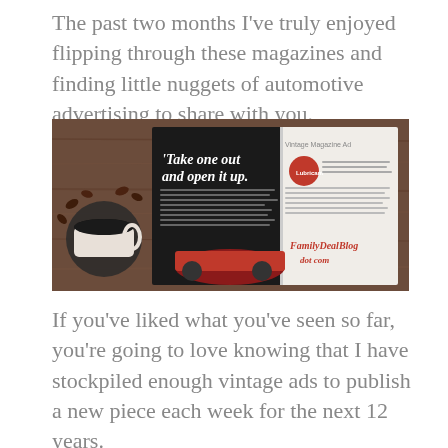The past two months I've truly enjoyed flipping through these magazines and finding little nuggets of automotive advertising to share with you.
[Figure (photo): A photograph of an open magazine on a wooden table next to a cup of coffee and coffee beans. The magazine shows a vintage automotive advertisement with text 'Take one out and open it up.' and a red car. Another page shows 'Vintage Magazine Ads' and 'FamilyDealBlog dot com'.]
If you've liked what you've seen so far, you're going to love knowing that I have stockpiled enough vintage ads to publish a new piece each week for the next 12 years.